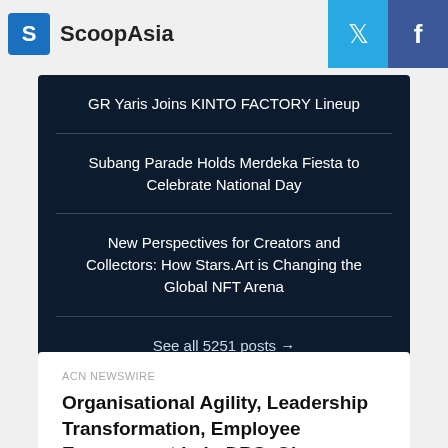ScoopAsia
GR Yaris Joins KINTO FACTORY Lineup
Subang Parade Holds Merdeka Fiesta to Celebrate National Day
New Perspectives for Creators and Collectors: How Stars.Art is Changing the Global NFT Arena
See all 5251 posts →
ACN NEWSWIRE
Organisational Agility, Leadership Transformation, Employee Engagement help DBS, Olam International to be